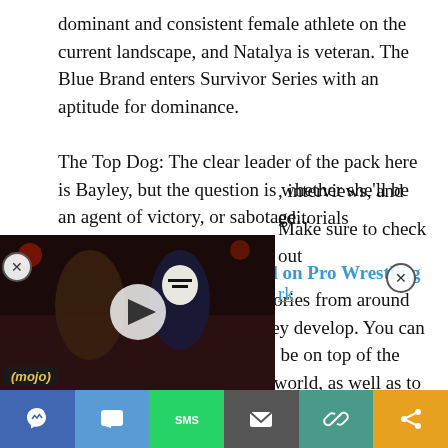dominant and consistent female athlete on the current landscape, and Natalya is veteran. The Blue Brand enters Survivor Series with an aptitude for dominance.
The Top Dog: The clear leader of the pack here is Bayley, but the question is whether she'll be an agent of victory, or sabotage...
Stay tuned to the Last Word on Pro Wrestling for more on this and other stories from around the world of wrestling, as they develop. You can always count on LWOPW to be on top of the major news in the wrestling world, as well as to provide you with , interviews, and editorials Make sure to check out rk
[Figure (screenshot): Embedded video player showing wrestling content with WCW/wrestling themed imagery, play button visible, mojo branding at bottom left]
[Figure (screenshot): Bottom social sharing toolbar with Facebook Messenger, comment, SMS, email, link, and share icons]